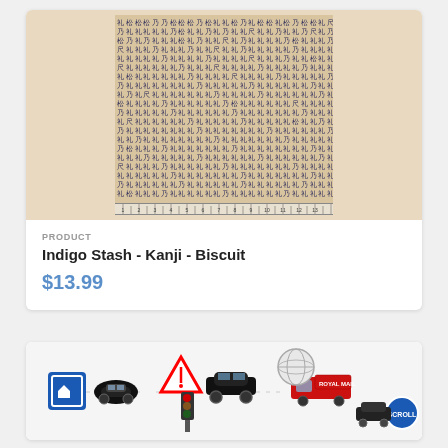[Figure (photo): Fabric swatch showing repeated kanji characters printed in dark navy/indigo on a biscuit/tan background, with a measuring ruler along the bottom edge.]
PRODUCT
Indigo Stash - Kanji - Biscuit
$13.99
[Figure (photo): Fabric swatch showing transportation/road theme with vintage cars, road signs (triangular warning signs, round signs), a mail van, traffic lights, on a white background in red, blue, and black.]